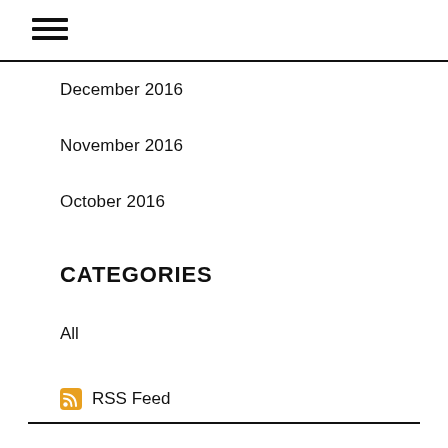≡
December 2016
November 2016
October 2016
CATEGORIES
All
RSS Feed